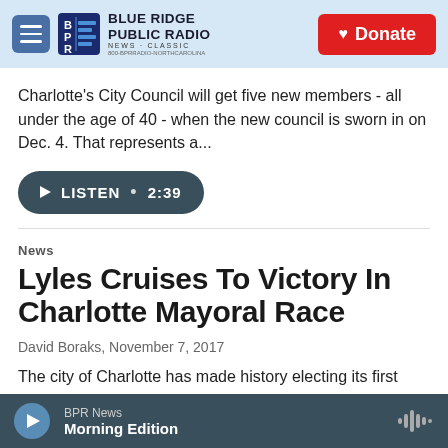Blue Ridge Public Radio — News + Classic | Donate
Charlotte's City Council will get five new members - all under the age of 40 - when the new council is sworn in on Dec. 4. That represents a...
LISTEN • 2:39
News
Lyles Cruises To Victory In Charlotte Mayoral Race
David Boraks, November 7, 2017
The city of Charlotte has made history electing its first
BPR News — Morning Edition